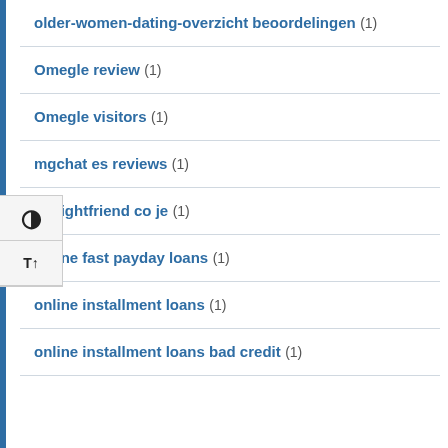older-women-dating-overzicht beoordelingen (1)
Omegle review (1)
Omegle visitors (1)
mgchat es reviews (1)
nenightfriend co je (1)
online fast payday loans (1)
online installment loans (1)
online installment loans bad credit (1)